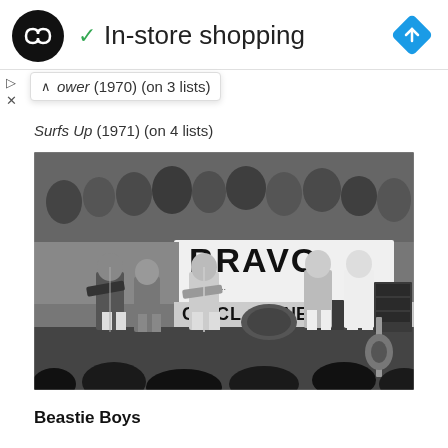In-store shopping
ower (1970) (on 3 lists)
Surfs Up (1971) (on 4 lists)
[Figure (photo): Black and white concert photo of a band performing on stage with a BRAVO banner and CIRCL...ONE banner behind them. Audience visible in background. Multiple musicians with guitars on stage.]
Beastie Boys